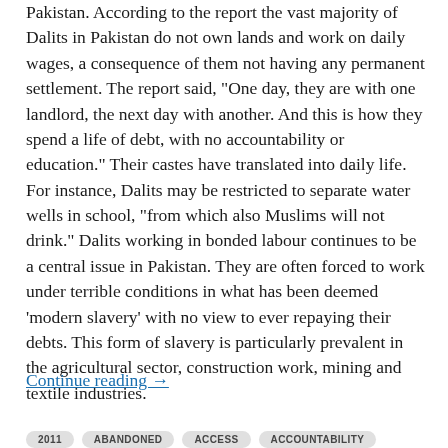Pakistan. According to the report the vast majority of Dalits in Pakistan do not own lands and work on daily wages, a consequence of them not having any permanent settlement. The report said, "One day, they are with one landlord, the next day with another. And this is how they spend a life of debt, with no accountability or education." Their castes have translated into daily life. For instance, Dalits may be restricted to separate water wells in school, "from which also Muslims will not drink." Dalits working in bonded labour continues to be a central issue in Pakistan. They are often forced to work under terrible conditions in what has been deemed 'modern slavery' with no view to ever repaying their debts. This form of slavery is particularly prevalent in the agricultural sector, construction work, mining and textile industries.
Continue reading →
2011 | ABANDONED | ACCESS | ACCOUNTABILITY